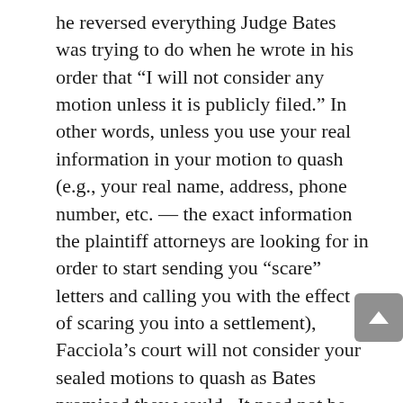he reversed everything Judge Bates was trying to do when he wrote in his order that “I will not consider any motion unless it is publicly filed.” In other words, unless you use your real information in your motion to quash (e.g., your real name, address, phone number, etc. — the exact information the plaintiff attorneys are looking for in order to start sending you “scare” letters and calling you with the effect of scaring you into a settlement), Facciola’s court will not consider your sealed motions to quash as Bates promised they would.  It need not be said that when you file a motion to quash, everybody can see it as the filing is a public document. However, Judge Facciola does not care about your privacy interests, nor does he care if plaintiff attorneys receive your private information, because according to him, “[i]ndividuals who subscribe to the internet through ISPs simply have no expectation of privacy in their subscriber information.” (emphasis added) I wonder